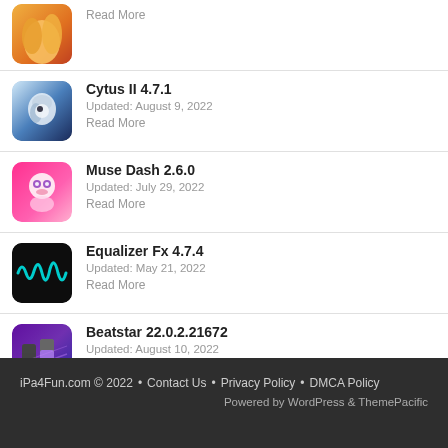[Figure (illustration): Partial anime character with orange/golden hair, app icon thumbnail (cropped at top)]
Read More
Cytus II 4.7.1
Updated: August 9, 2022
Read More
Muse Dash 2.6.0
Updated: July 29, 2022
Read More
Equalizer Fx 4.7.4
Updated: May 21, 2022
Read More
Beatstar 22.0.2.21672
Updated: August 10, 2022
Read More
iPa4Fun.com © 2022 • Contact Us • Privacy Policy • DMCA Policy
Powered by WordPress & ThemePacific